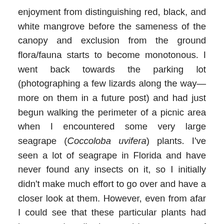enjoyment from distinguishing red, black, and white mangrove before the sameness of the canopy and exclusion from the ground flora/fauna starts to become monotonous. I went back towards the parking lot (photographing a few lizards along the way—more on them in a future post) and had just begun walking the perimeter of a picnic area when I encountered some very large seagrape (Coccoloba uvifera) plants. I've seen a lot of seagrape in Florida and have never found any insects on it, so I initially didn't make much effort to go over and have a closer look at them. However, even from afar I could see that these particular plants had been very heavily damaged by some type of defoliating insect. The first few branches I looked at showed no outward evidence of who the culprit was, but I reasoned it must have been some sort of lepidopteran caterpillar. As I was inspecting the branches, the insect in the above photo